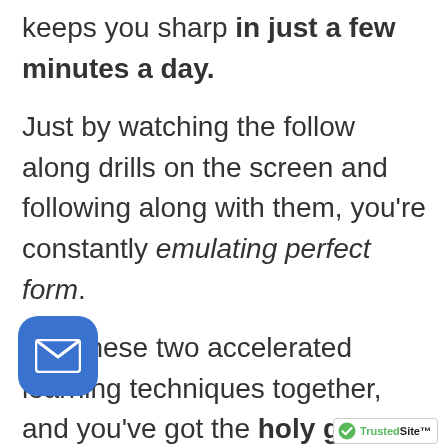keeps you sharp in just a few minutes a day.
Just by watching the follow along drills on the screen and following along with them, you're constantly emulating perfect form.
Add these two accelerated learning techniques together, and you've got the holy grail of fast muscle memory
[Figure (illustration): Blue rounded square email/envelope button icon in bottom-left corner]
[Figure (logo): TrustedSite badge with green checkmark in bottom-right corner]